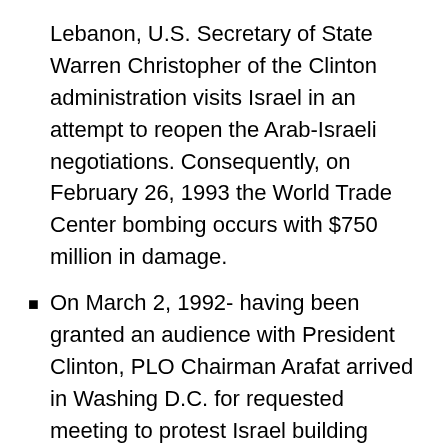Lebanon, U.S. Secretary of State Warren Christopher of the Clinton administration visits Israel in an attempt to reopen the Arab-Israeli negotiations. Consequently, on February 26, 1993 the World Trade Center bombing occurs with $750 million in damage.
On March 2, 1992- having been granted an audience with President Clinton, PLO Chairman Arafat arrived in Washing D.C. for requested meeting to protest Israel building housing units in East Jerusalem. Consequently, on March 1-2, 1997 severe weather conditions developed causing Mississippi and Ohio flooding and tornadoes. President Clinton's home state of Arkansas was devastated by tornadoes with a total of 67 dead ( 26 in Arkansas) and an estimated $1 billion damages. On March 4 the New York Times headline read “In storm’s wake, grief and shock” and